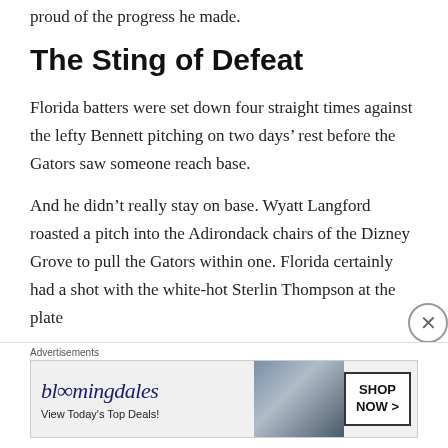proud of the progress he made.
The Sting of Defeat
Florida batters were set down four straight times against the lefty Bennett pitching on two days’ rest before the Gators saw someone reach base.
And he didn’t really stay on base. Wyatt Langford roasted a pitch into the Adirondack chairs of the Dizney Grove to pull the Gators within one. Florida certainly had a shot with the white-hot Sterlin Thompson at the plate followed by PT Diesel But Th...
Advertisements
[Figure (screenshot): Bloomingdale's advertisement banner: logo text 'bloomingdales', subtext 'View Today’s Top Deals!', image of woman with wide-brim hat, button reading 'SHOP NOW >']